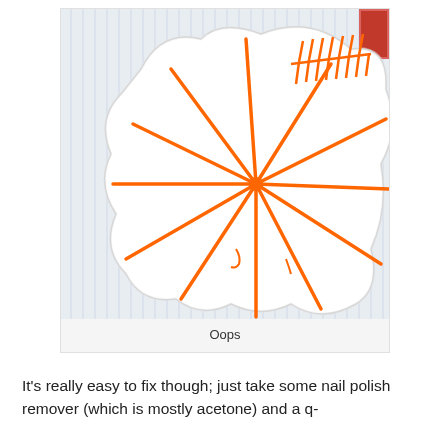[Figure (photo): A white ceramic star-shaped dish lying on lined notebook paper, with an orange marker drawing of radiating lines from a central point (starburst pattern) and a feather/arrow design on the upper right portion of the dish. The dish appears to have a mistake drawn on it.]
Oops
It's really easy to fix though; just take some nail polish remover (which is mostly acetone) and a q-